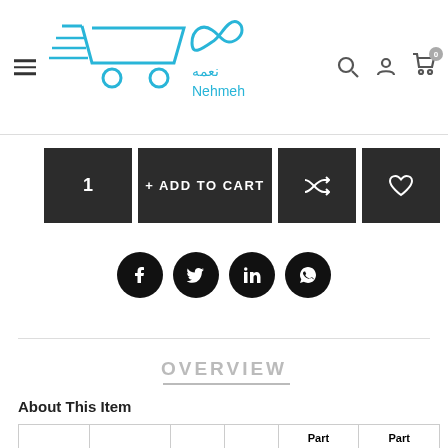[Figure (logo): Nehmeh e-commerce website header with logo (shopping cart icon with Arabic text and 'Nehmeh' in English), hamburger menu, search icon, user icon, and cart icon with badge showing 0]
[Figure (screenshot): Add to cart action bar with quantity button showing '1', '+ ADD TO CART' button, shuffle/compare icon button, and heart/wishlist icon button, all dark background]
[Figure (screenshot): Social sharing icons row: Facebook, Twitter, LinkedIn, WhatsApp — all black circles]
OVERVIEW
About This Item
|  |  |  |  | Part | Part |
| --- | --- | --- | --- | --- | --- |
|  |  |  |  |  |  |